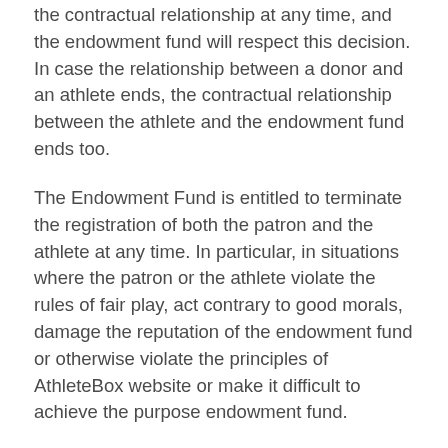the contractual relationship at any time, and the endowment fund will respect this decision. In case the relationship between a donor and an athlete ends, the contractual relationship between the athlete and the endowment fund ends too.
The Endowment Fund is entitled to terminate the registration of both the patron and the athlete at any time. In particular, in situations where the patron or the athlete violate the rules of fair play, act contrary to good morals, damage the reputation of the endowment fund or otherwise violate the principles of AthleteBox website or make it difficult to achieve the purpose endowment fund.
The termination of the contractual relationship also occurs when a patron or an athlete have cancelled their registration. In case of finding misuse of financial support on the part of the athlete, the listing of the endowment fund will cancel the registration. The sponsor is not entitled to demand the return of donated funds.